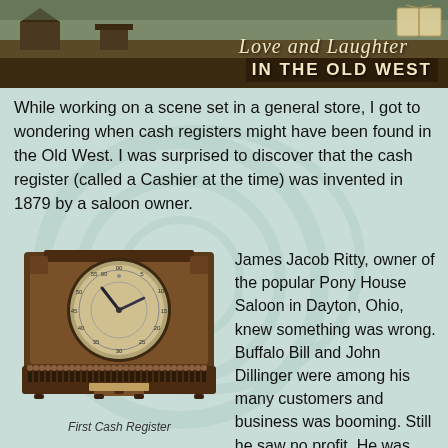Love and Laughter IN THE OLD WEST
While working on a scene set in a general store, I got to wondering when cash registers might have been found in the Old West. I was surprised to discover that the cash register (called a Cashier at the time) was invented in 1879 by a saloon owner.
[Figure (photo): Photograph of the first cash register, an antique mechanical device with a circular dial face showing numbers, clock-like hands, and a row of keys at the bottom, made of dark wood and brass.]
First Cash Register
James Jacob Ritty, owner of the popular Pony House Saloon in Dayton, Ohio, knew something was wrong. Buffalo Bill and John Dillinger were among his many customers and business was booming. Still he saw no profit.  He was